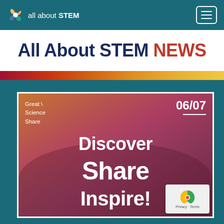all about STEM
All About STEM NEWS
[Figure (illustration): Promotional banner for Great Science Share event 06/07 with text 'Discover Share Inspire!' overlaid on a photo of students working together, with an orange/purple color overlay.]